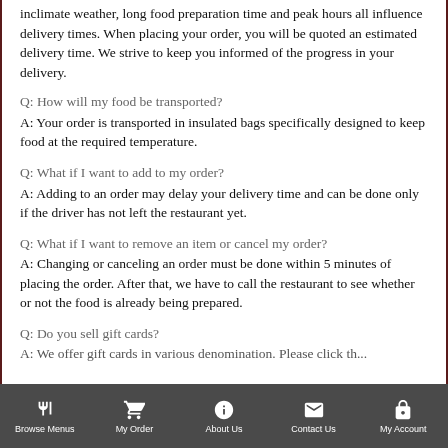inclimate weather, long food preparation time and peak hours all influence delivery times. When placing your order, you will be quoted an estimated delivery time. We strive to keep you informed of the progress in your delivery.
Q: How will my food be transported?
A: Your order is transported in insulated bags specifically designed to keep food at the required temperature.
Q: What if I want to add to my order?
A: Adding to an order may delay your delivery time and can be done only if the driver has not left the restaurant yet.
Q: What if I want to remove an item or cancel my order?
A: Changing or canceling an order must be done within 5 minutes of placing the order. After that, we have to call the restaurant to see whether or not the food is already being prepared.
Q: Do you sell gift cards?
A: We offer gift cards in various denominations. Please click the...
Browse Menus | My Order | About Us | Contact Us | My Account